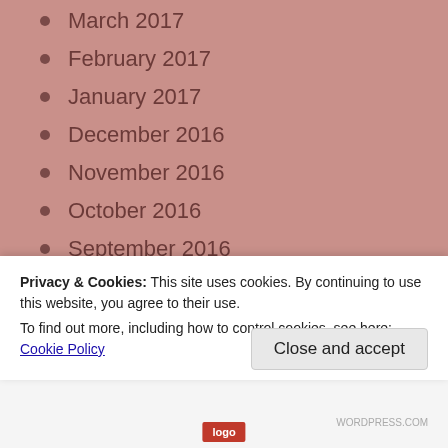March 2017
February 2017
January 2017
December 2016
November 2016
October 2016
September 2016
August 2016
July 2016
June 2016
May 2016
Privacy & Cookies: This site uses cookies. By continuing to use this website, you agree to their use. To find out more, including how to control cookies, see here: Cookie Policy